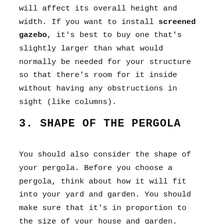will affect its overall height and width. If you want to install screened gazebo, it's best to buy one that's slightly larger than what would normally be needed for your structure so that there's room for it inside without having any obstructions in sight (like columns).
3. SHAPE OF THE PERGOLA
You should also consider the shape of your pergola. Before you choose a pergola, think about how it will fit into your yard and garden. You should make sure that it's in proportion to the size of your house and garden.
Some common shapes are square, rectangle